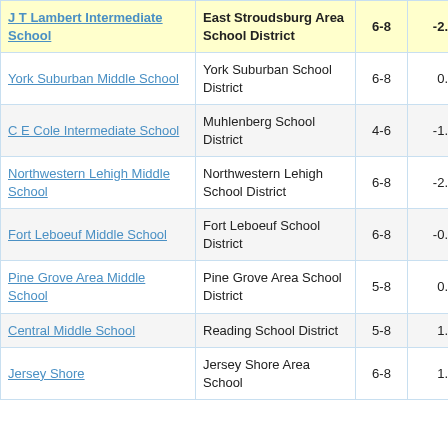| School | District | Grades | Score |
| --- | --- | --- | --- |
| J T Lambert Intermediate School | East Stroudsburg Area School District | 6-8 | -2. |
| York Suburban Middle School | York Suburban School District | 6-8 | 0. |
| C E Cole Intermediate School | Muhlenberg School District | 4-6 | -1. |
| Northwestern Lehigh Middle School | Northwestern Lehigh School District | 6-8 | -2. |
| Fort Leboeuf Middle School | Fort Leboeuf School District | 6-8 | -0. |
| Pine Grove Area Middle School | Pine Grove Area School District | 5-8 | 0. |
| Central Middle School | Reading School District | 5-8 | 1. |
| Jersey Shore | Jersey Shore Area School | 6-8 | 1. |